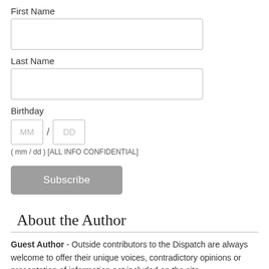First Name
Last Name
Birthday
( mm / dd ) [ALL INFO CONFIDENTIAL]
Subscribe
About the Author
Guest Author - Outside contributors to the Dispatch are always welcome to offer their unique voices, contradictory opinions or presentation of information not included on the site.
Tags  Arts  Fact Or Fiction  Internet Control  Penmanship-